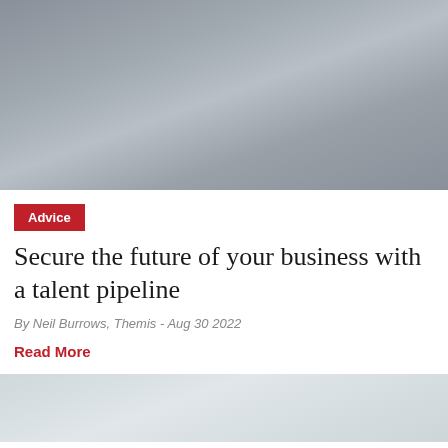[Figure (photo): Gray-toned photo, likely an indoor or abstract background image, upper portion of page]
Advice
Secure the future of your business with a talent pipeline
By Neil Burrows, Themis - Aug 30 2022
Read More
[Figure (photo): Light gray-toned photo, partially visible at bottom of page]